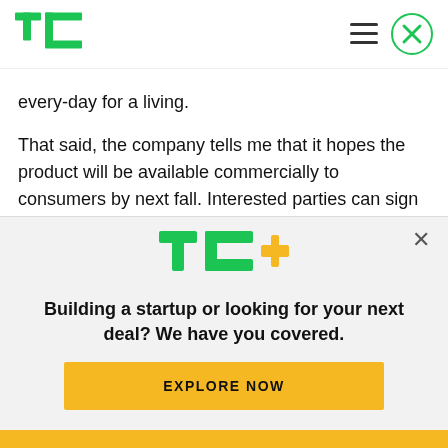TechCrunch logo with hamburger menu and close button
every-day for a living.
That said, the company tells me that it hopes the product will be available commercially to consumers by next fall. Interested parties can sign up for more details here.
One interesting thing to note about the company:
[Figure (logo): TC+ logo (TechCrunch Plus) in green and yellow]
Building a startup or looking for your next deal? We have you covered.
EXPLORE NOW